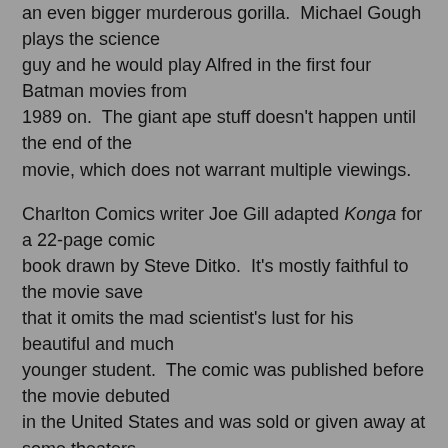an even bigger murderous gorilla.  Michael Gough plays the science guy and he would play Alfred in the first four Batman movies from 1989 on.  The giant ape stuff doesn't happen until the end of the movie, which does not warrant multiple viewings.
Charlton Comics writer Joe Gill adapted Konga for a 22-page comic book drawn by Steve Ditko.  It's mostly faithful to the movie save that it omits the mad scientist's lust for his beautiful and much younger student.  The comic was published before the movie debuted in the United States and was sold or given away at some theaters. In this collection's introductory material, Yoe describes some of the other ideas suggested by the movie's promotional team.